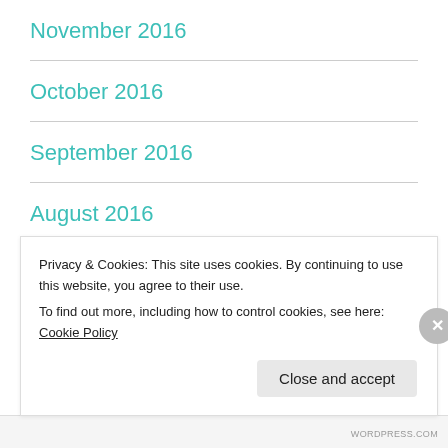November 2016
October 2016
September 2016
August 2016
July 2016
June 2016
Privacy & Cookies: This site uses cookies. By continuing to use this website, you agree to their use.
To find out more, including how to control cookies, see here: Cookie Policy
WORDPRESS.COM